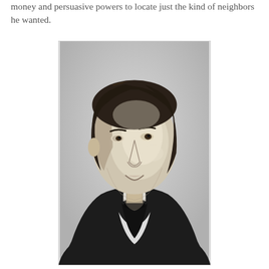money and persuasive powers to locate just the kind of neighbors he wanted.
[Figure (photo): Black and white portrait photograph of a 19th-century man with dark hair swept to one side, wearing a dark coat with a white shirt and dark cravat/necktie. The image appears to be a historical portrait, likely of Ralph Waldo Emerson.]